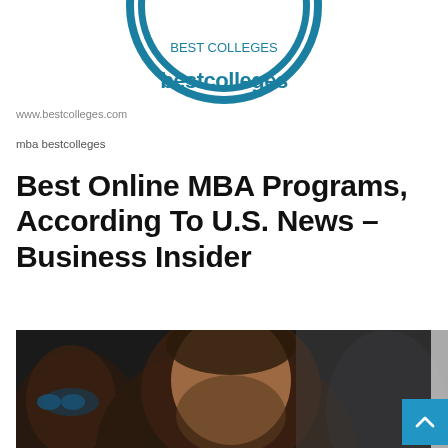[Figure (logo): BestColleges circular logo with teal/blue border and white background, partially cropped at top]
www.bestcolleges.com
mba bestcolleges
Best Online MBA Programs, According To U.S. News – Business Insider
[Figure (photo): Photo of students in a classroom or lecture setting; a man with a beard in center foreground, a woman with sunglasses to the left, another person blurred in background]